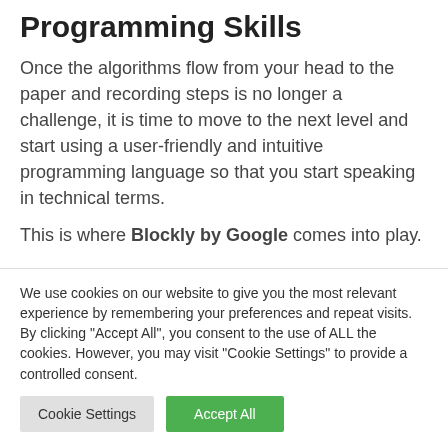Programming Skills
Once the algorithms flow from your head to the paper and recording steps is no longer a challenge, it is time to move to the next level and start using a user-friendly and intuitive programming language so that you start speaking in technical terms.
This is where Blockly by Google comes into play.
We use cookies on our website to give you the most relevant experience by remembering your preferences and repeat visits. By clicking "Accept All", you consent to the use of ALL the cookies. However, you may visit "Cookie Settings" to provide a controlled consent.